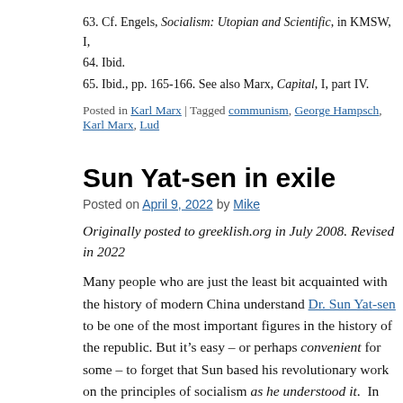63. Cf. Engels, Socialism: Utopian and Scientific, in KMSW, I,
64. Ibid.
65. Ibid., pp. 165-166. See also Marx, Capital, I, part IV.
Posted in Karl Marx | Tagged communism, George Hampsch, Karl Marx, Lud
Sun Yat-sen in exile
Posted on April 9, 2022 by Mike
Originally posted to greeklish.org in July 2008. Revised in 2022
Many people who are just the least bit acquainted with the history of modern China understand Dr. Sun Yat-sen to be one of the most important figures in the history of the republic. But it’s easy – or perhaps convenient for some – to forget that Sun based his revolutionary work on the principles of socialism as he understood it. In his 1956 article “In Commemoration of Dr. Sun Yat-sen,” Mao Zedong hailed Sun